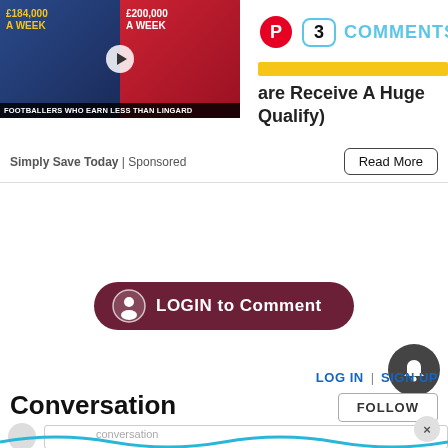[Figure (screenshot): Thumbnail showing two footballers with salary text overlays: £184,000 A WEEK on left, £200,000 A WEEK on right. Caption: 'Footballers Who Earn Less Than Lingard']
3 COMMENTS
are Receive A Huge Qualify)
Simply Save Today | Sponsored
Read More
LOGIN to Comment
LOG IN | SIGN UP
Conversation
FOLLOW
conversation